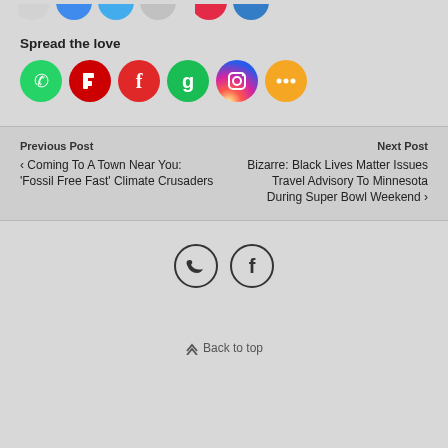Spread the love
[Figure (other): Social media sharing icon buttons: WhatsApp (green), Parler (red), Flipboard (red), Goodreads (green), Instagram (gradient), More/Share (orange)]
Previous Post
Coming To A Town Near You: 'Fossil Free Fast' Climate Crusaders
Next Post
Bizarre: Black Lives Matter Issues Travel Advisory To Minnesota During Super Bowl Weekend
[Figure (other): Twitter and Facebook circular outline icon buttons in footer]
Back to top